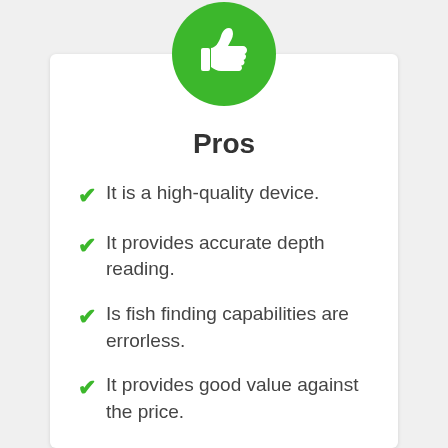[Figure (illustration): Green circle with white thumbs-up icon]
Pros
It is a high-quality device.
It provides accurate depth reading.
Is fish finding capabilities are errorless.
It provides good value against the price.